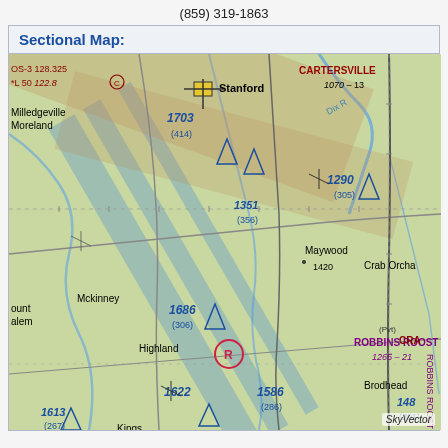(859) 319-1863
Sectional Map:
[Figure (map): VFR sectional aeronautical map showing the area around Stanford, Kentucky including locations such as Milledgeville, Moreland, Mckinney, Highland, Kings Mountain, Waynesburg, Mt Olive, Maywood, Brodhead, Crab Orchard, and CARTERSVILLE. Features terrain elevation markers, airspace indicators, obstruction markers, and the private airport ROBBINS ROOST (1265-21). Elevation readings include 1703 (414), 1351 (356), 1290 (305), 1686 (306), 1613 (267), 1622, 1586 (286), 1531 (320), 1845 (325), 1148 (301), 1070-13. Radio frequencies shown: 128.325, 122.8. Dix R (river) visible in upper portion.]